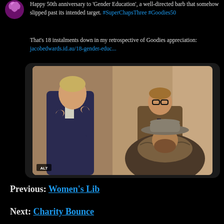Happy 50th anniversary to 'Gender Education', a well-directed barb that somehow slipped past its intended target. #SuperChapsThree #Goodies50
That's 18 instalments down in my retrospective of Goodies appreciation: jacobedwards.id.au/18-gender-educ...
[Figure (photo): A still from a vintage TV show (The Goodies) showing three men in 1970s clothing: one man on the left in a dark suit with hands raised to face, one in a brown tweed jacket standing behind, and one seated wearing a wide-brimmed hat and fur-collared coat. The image has an ALT badge in the bottom-left corner.]
Previous: Women's Lib
Next: Charity Bounce